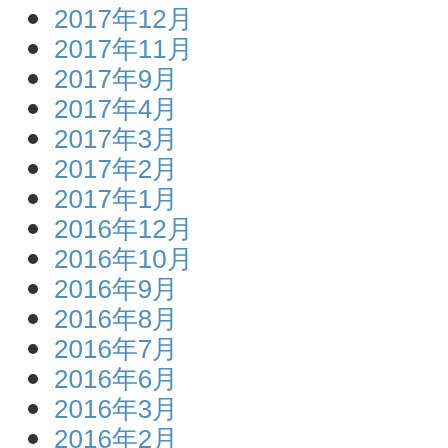2017年12月
2017年11月
2017年9月
2017年4月
2017年3月
2017年2月
2017年1月
2016年12月
2016年10月
2016年9月
2016年8月
2016年7月
2016年6月
2016年3月
2016年2月
2016年1月
2015年12月